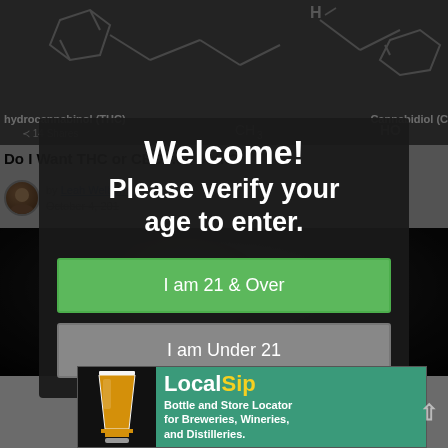[Figure (screenshot): Website page showing chemical structures of THC and Cannabidiol at top, article titled 'Do I Want THC or CBD...or Both?' by Leah Welborn, October 4, 201*, with age verification modal overlay asking visitors to verify age, two buttons: 'I am 21 & Over' (green) and 'I am Under 21' (gray), and a LocalSip banner at bottom.]
Welcome!
Please verify your age to enter.
I am 21 & Over
I am Under 21
hydrocannabinol (THC)
Cannabidiol (C
14 Shares
Do I Want THC or CBD...or Both?
by Leah Welborn
October 4, 201
Bottle and Store Locator for Breweries, Wineries, and Distilleries.
LocalSip